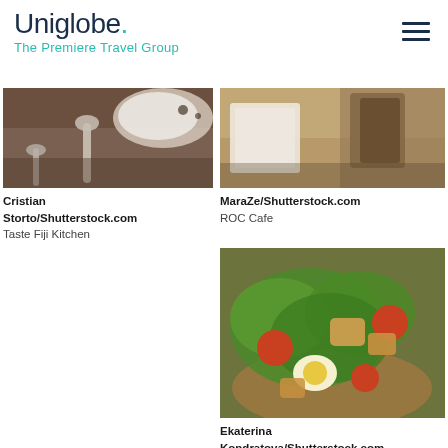[Figure (logo): Uniglobe. The Premiere Travel Group logo with hamburger menu icon]
[Figure (photo): Food photo – spoon and plate with spices, Cristian Storto/Shutterstock.com, Taste Fiji Kitchen]
Cristian Storto/Shutterstock.com
Taste Fiji Kitchen
[Figure (photo): Food photo – bread and paper bag, MaraZe/Shutterstock.com, ROC Cafe]
MaraZe/Shutterstock.com
ROC Cafe
[Figure (photo): Salad photo with chicken, tomatoes, egg, croutons – Ekaterina Kondratova/Shutterstock.com]
Ekaterina Kondratova/Shutterstock.com